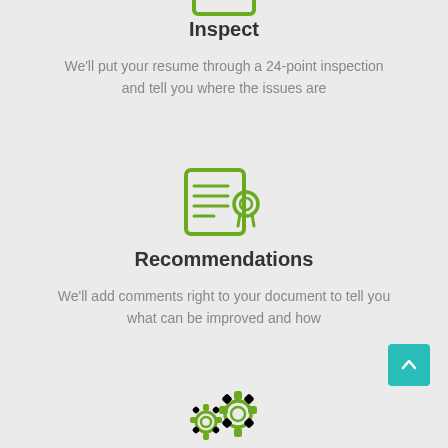[Figure (illustration): Green outline icon of a document/clipboard with lines representing text]
Inspect
We'll put your resume through a 24-point inspection and tell you where the issues are
[Figure (illustration): Green outline icon of a certificate/document with a ribbon badge]
Recommendations
We'll add comments right to your document to tell you what can be improved and how
[Figure (illustration): Green outline icon of two gear/cog wheels representing settings or processing]